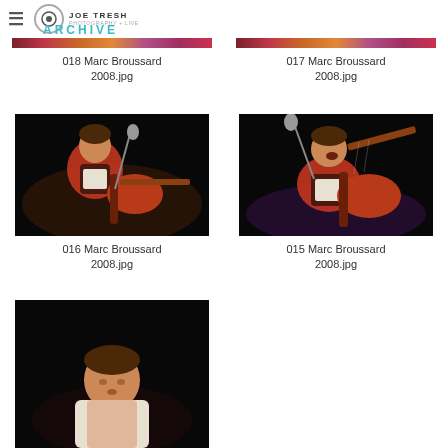JOE TRESH ARCHIVE
018 Marc Broussard 2008.jpg
017 Marc Broussard 2008.jpg
[Figure (photo): Concert photo of Marc Broussard singing and playing guitar on dark stage, left]
016 Marc Broussard 2008.jpg
[Figure (photo): Concert photo of Marc Broussard singing into microphone and playing electric guitar, right]
015 Marc Broussard 2008.jpg
[Figure (photo): Concert photo of Marc Broussard, partially visible at bottom of page]